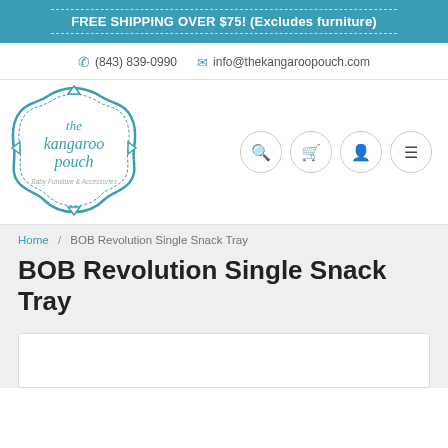FREE SHIPPING OVER $75! (Excludes furniture)
(843) 839-0990   info@thekangaroopouch.com
[Figure (logo): The Kangaroo Pouch logo — teal decorative badge with text 'the kangaroo pouch' and subtitle 'Baby Furniture & Accessories']
Home / BOB Revolution Single Snack Tray
BOB Revolution Single Snack Tray